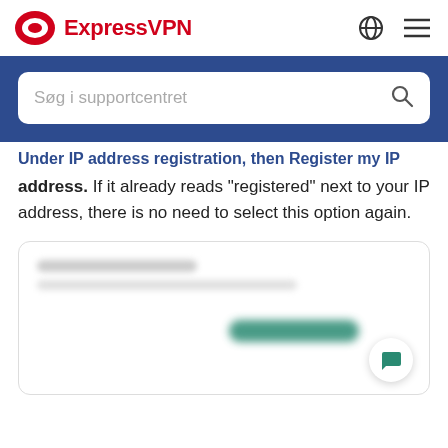ExpressVPN
[Figure (screenshot): ExpressVPN support center search interface with blue background and white search box reading 'Søg i supportcentret']
address. If it already reads “registered” next to your IP address, there is no need to select this option again.
[Figure (screenshot): Blurred screenshot of ExpressVPN interface showing a green button and a chat bubble icon]